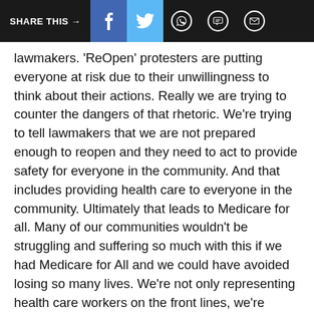SHARE THIS → f [facebook] [twitter] [whatsapp] [chat] [email]
lawmakers. 'ReOpen' protesters are putting everyone at risk due to their unwillingness to think about their actions. Really we are trying to counter the dangers of that rhetoric. We're trying to tell lawmakers that we are not prepared enough to reopen and they need to act to provide safety for everyone in the community. And that includes providing health care to everyone in the community. Ultimately that leads to Medicare for all. Many of our communities wouldn't be struggling and suffering so much with this if we had Medicare for All and we could have avoided losing so many lives. We're not only representing health care workers on the front lines, we're representing everyone else who is concerned and confused."
# # #